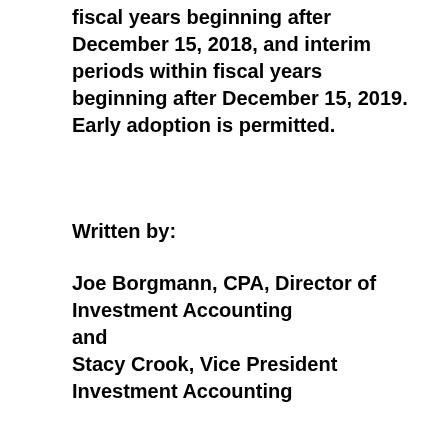fiscal years beginning after December 15, 2018, and interim periods within fiscal years beginning after December 15, 2019. Early adoption is permitted.
Written by:
Joe Borgmann, CPA, Director of Investment Accounting
and
Stacy Crook, Vice President Investment Accounting